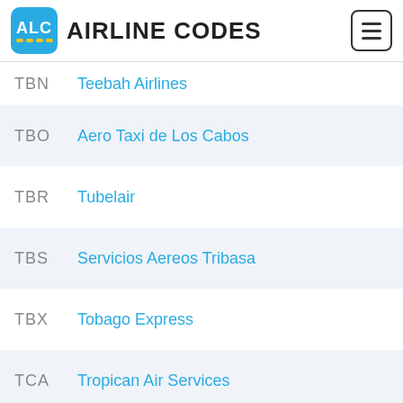ALC AIRLINE CODES
TBN  Teebah Airlines
TBO  Aero Taxi de Los Cabos
TBR  Tubelair
TBS  Servicios Aereos Tribasa
TBX  Tobago Express
TCA  Tropican Air Services
TCB  Transporte del Caribe
TCC  Trans Continental Airlines
TCD  Tchad Airlines
TCE  Trans-Colorado Airlines